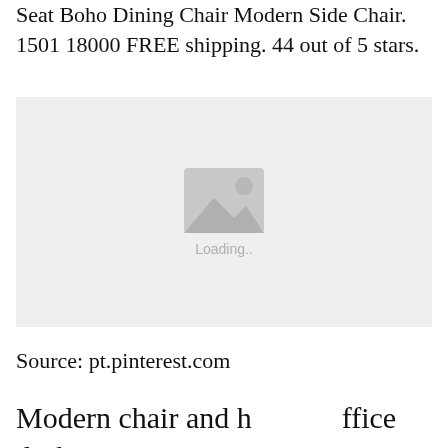Seat Boho Dining Chair Modern Side Chair. 1501 18000 FREE shipping. 44 out of 5 stars.
[Figure (photo): Loading image placeholder with mountain/image icon and 'Loading..' text on a light grey background]
Source: pt.pinterest.com
Modern chair and home office desk